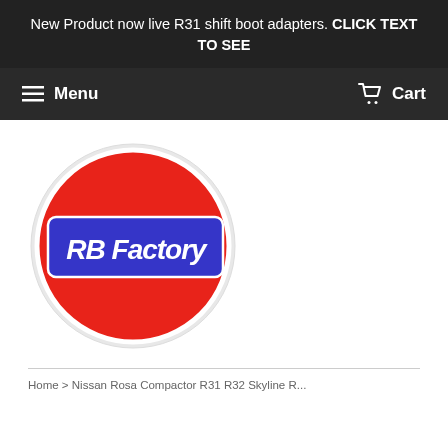New Product now live R31 shift boot adapters. CLICK TEXT TO SEE
Menu   Cart
[Figure (logo): RB Factory logo: circular red disc with a blue rectangular banner across the middle containing white hand-drawn text 'RB Factory', white outline border around the circle]
Home > Nissan Rosa Compactor R31 R30 Skyline R...